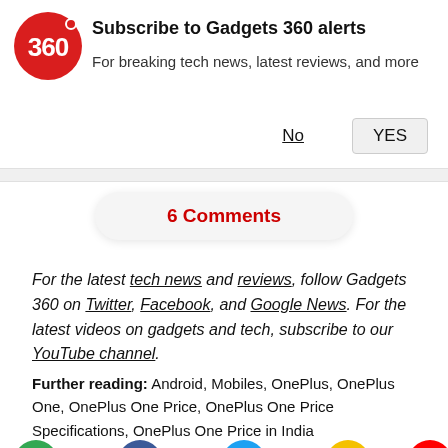[Figure (logo): Gadgets 360 red circle logo with '360' text and red dot]
Subscribe to Gadgets 360 alerts
For breaking tech news, latest reviews, and more
No  YES
6 Comments
For the latest tech news and reviews, follow Gadgets 360 on Twitter, Facebook, and Google News. For the latest videos on gadgets and tech, subscribe to our YouTube channel.
Further reading: Android, Mobiles, OnePlus, OnePlus One, OnePlus One Price, OnePlus One Price Specifications, OnePlus One Price in India